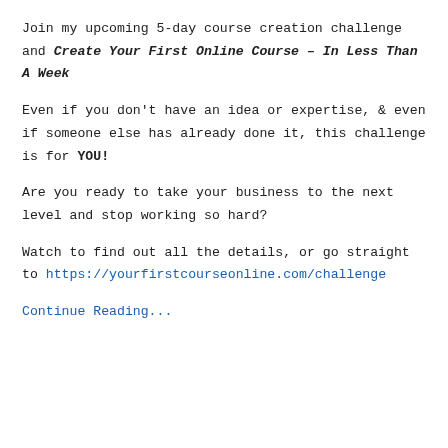Join my upcoming 5-day course creation challenge and Create Your First Online Course – In Less Than A Week
Even if you don't have an idea or expertise, & even if someone else has already done it, this challenge is for YOU!
Are you ready to take your business to the next level and stop working so hard?
Watch to find out all the details, or go straight to https://yourfirstcourseonline.com/challenge
Continue Reading...